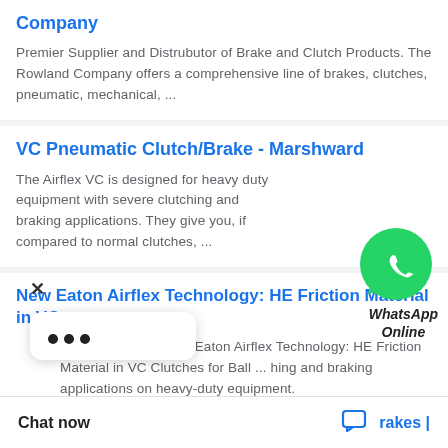Company
Premier Supplier and Distrubutor of Brake and Clutch Products. The Rowland Company offers a comprehensive line of brakes, clutches, pneumatic, mechanical, ...
VC Pneumatic Clutch/Brake - Marshward
The Airflex VC is designed for heavy duty equipment with severe clutching and braking applications. They give you, if compared to normal clutches, ...
[Figure (logo): WhatsApp green bubble icon with phone symbol and label 'WhatsApp Online']
New Eaton Airflex Technology: HE Friction Material in VC ...
Nov 13, 2017 — New Eaton Airflex Technology: HE Friction Material in VC Clutches for Ball ... hing and braking applications on heavy-duty equipment.
Chat now
rakes |